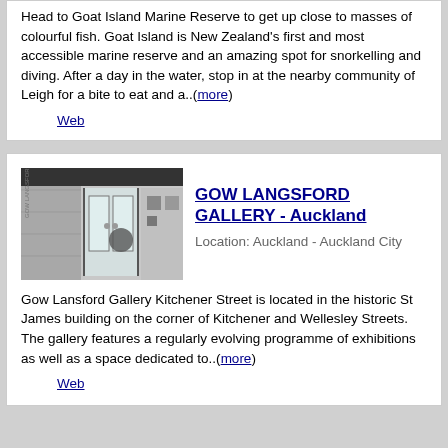Head to Goat Island Marine Reserve to get up close to masses of colourful fish. Goat Island is New Zealand's first and most accessible marine reserve and an amazing spot for snorkelling and diving. After a day in the water, stop in at the nearby community of Leigh for a bite to eat and a..(more)
Web
[Figure (photo): Black and white photo of the exterior entrance of Gow Langsford Gallery, showing glass doors and a modern building facade]
GOW LANGSFORD GALLERY - Auckland
Location: Auckland - Auckland City
Gow Lansford Gallery Kitchener Street is located in the historic St James building on the corner of Kitchener and Wellesley Streets. The gallery features a regularly evolving programme of exhibitions as well as a space dedicated to..(more)
Web